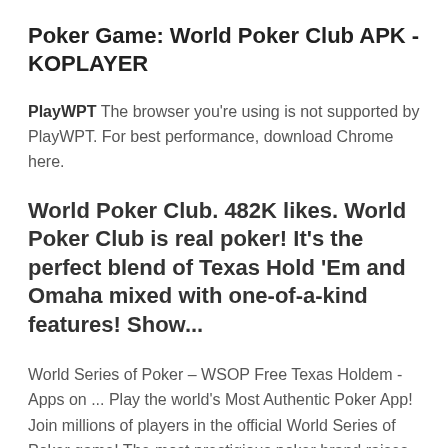Poker Game: World Poker Club APK - KOPLAYER
PlayWPT The browser you're using is not supported by PlayWPT. For best performance, download Chrome here.
World Poker Club. 482K likes. World Poker Club is real poker! It's the perfect blend of Texas Hold 'Em and Omaha mixed with one-of-a-kind features! Show...
World Series of Poker – WSOP Free Texas Holdem - Apps on ... Play the world's Most Authentic Poker App! Join millions of players in the official World Series of Poker game! The most prestigious poker brand raises the stakes with THE authentic poker...